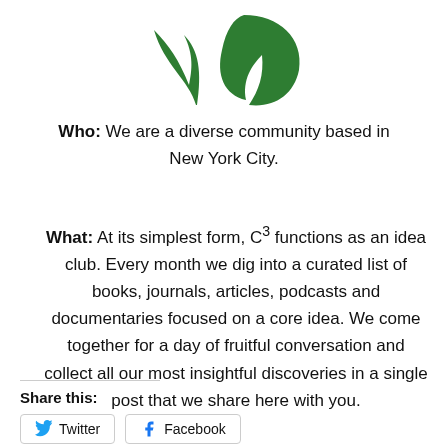[Figure (logo): Partial green leaf logo at the top center of the page]
Who: We are a diverse community based in New York City.
What: At its simplest form, C³ functions as an idea club. Every month we dig into a curated list of books, journals, articles, podcasts and documentaries focused on a core idea. We come together for a day of fruitful conversation and collect all our most insightful discoveries in a single post that we share here with you.
Share this:
Twitter  Facebook